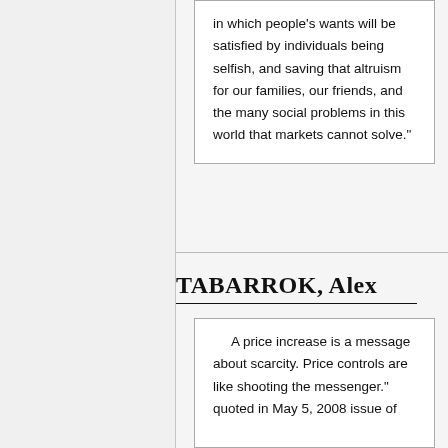in which people's wants will be satisfied by individuals being selfish, and saving that altruism for our families, our friends, and the many social problems in this world that markets cannot solve."
TABARROK, Alex
A price increase is a message about scarcity. Price controls are like shooting the messenger." quoted in May 5, 2008 issue of